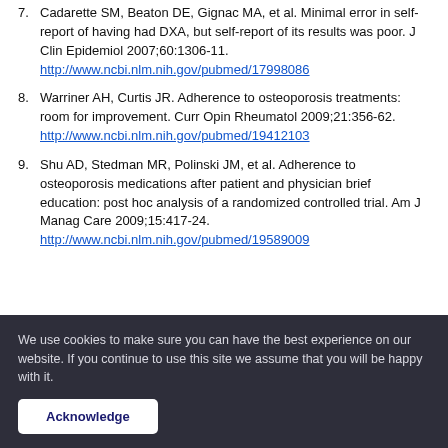7. Cadarette SM, Beaton DE, Gignac MA, et al. Minimal error in self-report of having had DXA, but self-report of its results was poor. J Clin Epidemiol 2007;60:1306-11. http://www.ncbi.nlm.nih.gov/pubmed/17998086
8. Warriner AH, Curtis JR. Adherence to osteoporosis treatments: room for improvement. Curr Opin Rheumatol 2009;21:356-62. http://www.ncbi.nlm.nih.gov/pubmed/19412103
9. Shu AD, Stedman MR, Polinski JM, et al. Adherence to osteoporosis medications after patient and physician brief education: post hoc analysis of a randomized controlled trial. Am J Manag Care 2009;15:417-24. http://www.ncbi.nlm.nih.gov/pubmed/19589009
We use cookies to make sure you can have the best experience on our website. If you continue to use this site we assume that you will be happy with it.
Acknowledge